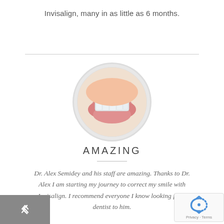Invisalign, many in as little as 6 months.
[Figure (photo): Circular cropped photo of a smiling mouth wearing Invisalign clear aligners, showing upper and lower teeth with pink lips]
AMAZING
Dr. Alex Semidey and his staff are amazing. Thanks to Dr. Alex I am starting my journey to correct my smile with Invisalign. I recommend everyone I know looking for a dentist to him.